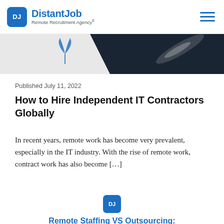[Figure (logo): DistantJob Remote Recruitment Agency logo with blue DJ icon box and hamburger menu]
[Figure (photo): Partial hero image showing a dark abstract background with a light streak and a small blue plant illustration on the left]
Published July 11, 2022
How to Hire Independent IT Contractors Globally
In recent years, remote work has become very prevalent, especially in the IT industry. With the rise of remote work, contract work has also become [...]
[Figure (logo): Small DistantJob DJ blue icon box]
Remote Staffing VS Outsourcing: What's The Difference?